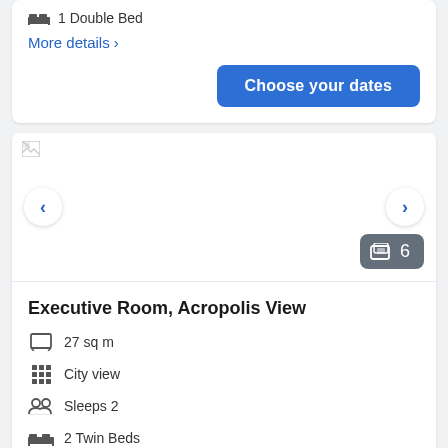1 Double Bed
More details >
Choose your dates
[Figure (photo): Hotel room photo carousel showing broken/loading image with navigation arrows and photo count badge showing 6 photos]
Executive Room, Acropolis View
27 sq m
City view
Sleeps 2
2 Twin Beds